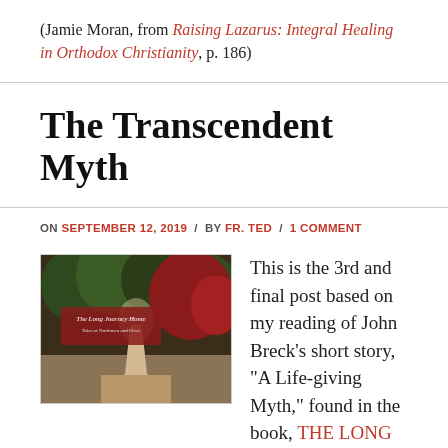(Jamie Moran, from Raising Lazarus: Integral Healing in Orthodox Christianity, p. 186)
The Transcendent Myth
ON SEPTEMBER 12, 2019 / BY FR. TED / 1 COMMENT
[Figure (photo): Book cover of 'The Long Journey Home: Tales of Northmen and Elves' with a forest path in autumn colors]
This is the 3rd and final post based on my reading of John Breck's short story, "A Life-giving Myth," found in the book, THE LONG